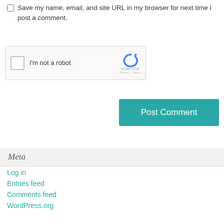Save my name, email, and site URL in my browser for next time I post a comment.
[Figure (other): reCAPTCHA widget with checkbox labeled 'I'm not a robot' and Google reCAPTCHA logo with Privacy and Terms links]
Post Comment
Meta
Log in
Entries feed
Comments feed
WordPress.org